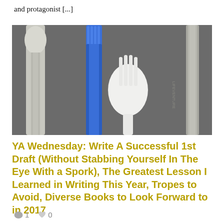and protagonist [...]
[Figure (photo): Three utensils laid flat on a grey surface: a metal spoon on the left, a blue plastic spork in the center, a white plastic spork in the middle-right, and a metal spork/utensil on the far right with 'Lifeventure' text.]
YA Wednesday: Write A Successful 1st Draft (Without Stabbing Yourself In The Eye With a Spork), The Greatest Lesson I Learned in Writing This Year, Tropes to Avoid, Diverse Books to Look Forward to in 2017
💬 1  ♥ 0